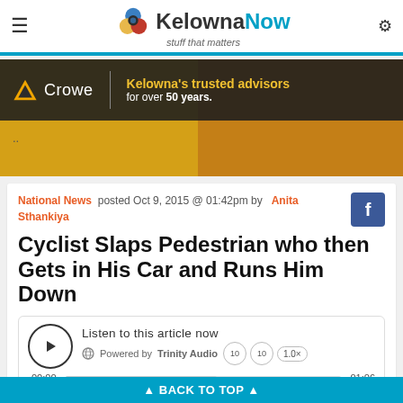KelownaNow — stuff that matters
[Figure (other): Crowe advertisement banner — Kelowna's trusted advisors for over 50 years.]
National News  posted Oct 9, 2015 @ 01:42pm by  Anita Sthankiya
Cyclist Slaps Pedestrian who then Gets in His Car and Runs Him Down
Listen to this article now  Powered by Trinity Audio  00:00  01:06
Toronto Police are searching for a suspect who allegedly...